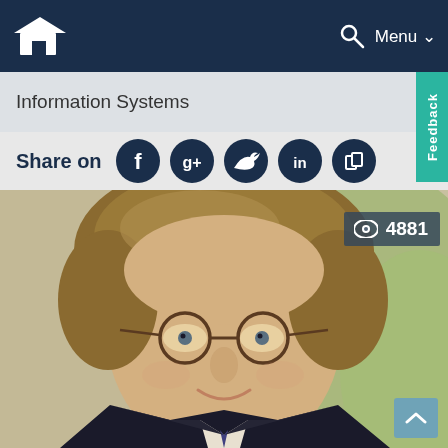Information Systems
Share on
[Figure (photo): Portrait photo of a man with brown hair, glasses, wearing a dark suit, smiling. View count badge shows 4881 views.]
4881
Feedback